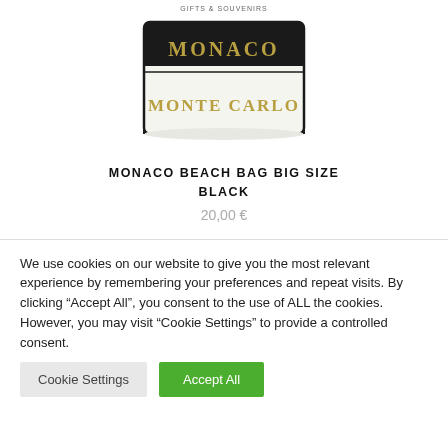GIFTS & SOUVENIRS
[Figure (photo): Monaco Monte Carlo beach bag, black and white, with gold embroidered text 'MONACO' on black portion and 'MONTE CARLO' on white portion]
MONACO BEACH BAG BIG SIZE BLACK
20,00 €
We use cookies on our website to give you the most relevant experience by remembering your preferences and repeat visits. By clicking "Accept All", you consent to the use of ALL the cookies. However, you may visit "Cookie Settings" to provide a controlled consent.
Cookie Settings | Accept All